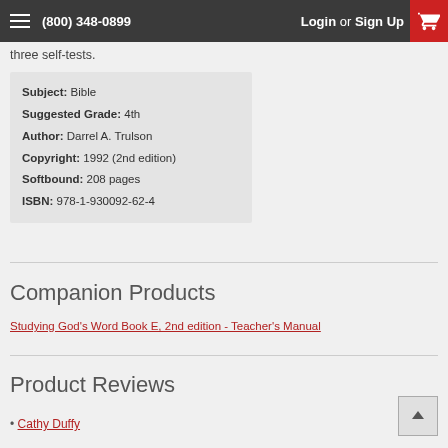(800) 348-0899   Login or Sign Up
three self-tests.
| Subject: | Bible |
| Suggested Grade: | 4th |
| Author: | Darrel A. Trulson |
| Copyright: | 1992 (2nd edition) |
| Softbound: | 208 pages |
| ISBN: | 978-1-930092-62-4 |
Companion Products
Studying God's Word Book E, 2nd edition - Teacher's Manual
Product Reviews
Cathy Duffy